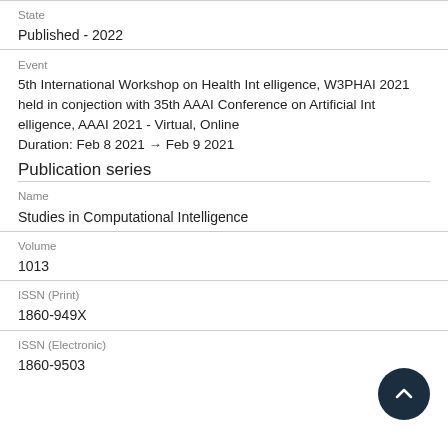State
Published - 2022
Event
5th International Workshop on Health Intelligence, W3PHAI 2021 held in conjection with 35th AAAI Conference on Artificial Intelligence, AAAI 2021 - Virtual, Online
Duration: Feb 8 2021 → Feb 9 2021
Publication series
Name
Studies in Computational Intelligence
Volume
1013
ISSN (Print)
1860-949X
ISSN (Electronic)
1860-9503